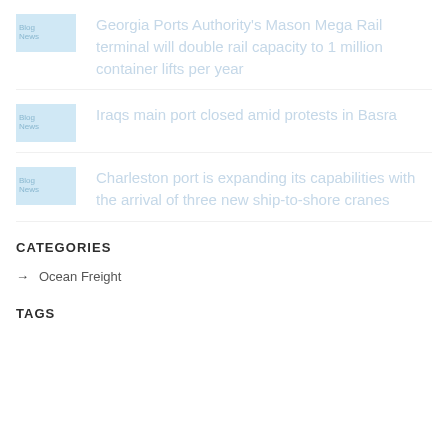[Figure (illustration): Blog news thumbnail placeholder image - light blue rectangle with text 'Blog News']
Georgia Ports Authority's Mason Mega Rail terminal will double rail capacity to 1 million container lifts per year
[Figure (illustration): Blog news thumbnail placeholder image - light blue rectangle with text 'Blog News']
Iraqs main port closed amid protests in Basra
[Figure (illustration): Blog news thumbnail placeholder image - light blue rectangle with text 'Blog News']
Charleston port is expanding its capabilities with the arrival of three new ship-to-shore cranes
CATEGORIES
Ocean Freight
TAGS